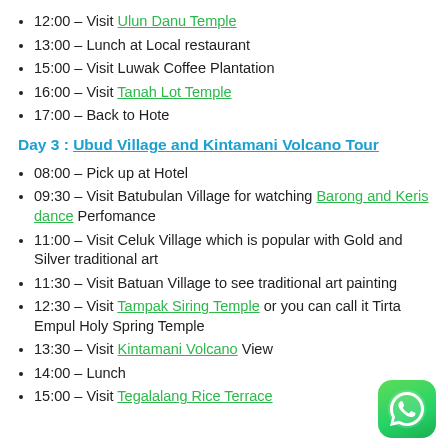12:00 – Visit Ulun Danu Temple
13:00 – Lunch at Local restaurant
15:00 – Visit Luwak Coffee Plantation
16:00 – Visit Tanah Lot Temple
17:00 – Back to Hote
Day 3 : Ubud Village and Kintamani Volcano Tour
08:00 – Pick up at Hotel
09:30 – Visit Batubulan Village for watching Barong and Keris dance Perfomance
11:00 – Visit Celuk Village which is popular with Gold and Silver traditional art
11:30 – Visit Batuan Village to see traditional art painting
12:30 – Visit Tampak Siring Temple or you can call it Tirta Empul Holy Spring Temple
13:30 – Visit Kintamani Volcano View
14:00 – Lunch
15:00 – Visit Tegalalang Rice Terrace